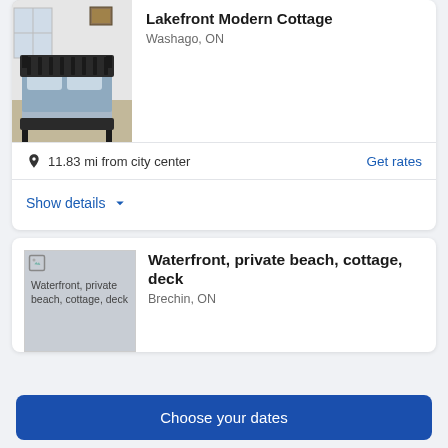[Figure (photo): Bedroom photo showing a metal-frame bed with blue bedding inside a white-walled room with a window and a framed picture on the wall.]
Lakefront Modern Cottage
Washago, ON
11.83 mi from city center
Get rates
Show details
[Figure (photo): Broken/missing image placeholder for Waterfront, private beach, cottage, deck listing.]
Waterfront, private beach, cottage, deck
Brechin, ON
Choose your dates